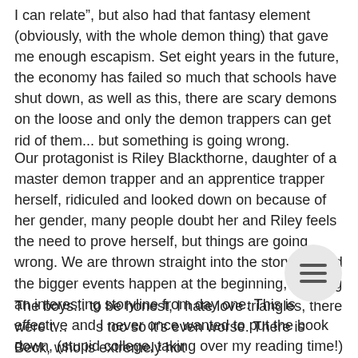I can relate", but also had that fantasy element (obviously, with the whole demon thing) that gave me enough escapism. Set eight years in the future, the economy has failed so much that schools have shut down, as well as this, there are scary demons on the loose and only the demon trappers can get rid of them... but something is going wrong.
Our protagonist is Riley Blackthorne, daughter of a master demon trapper and an apprentice trapper herself, ridiculed and looked down on because of her gender, many people doubt her and Riley feels the need to prove herself, but things are going wrong. We are thrown straight into the storyline and the bigger events happen at the beginning, creating an interesting storyline from day one. This is effective and I never once wanted to put the book down, (stupid college, taking over my reading time!) I got completely absorbed in the book.
The boys... to be honest, I hate love triangles, there were two so it's even worse. There is Beck, who is extremely hot (EEEEEEEEEEEEEEE!), but his overexaggerated 'southern drawl'